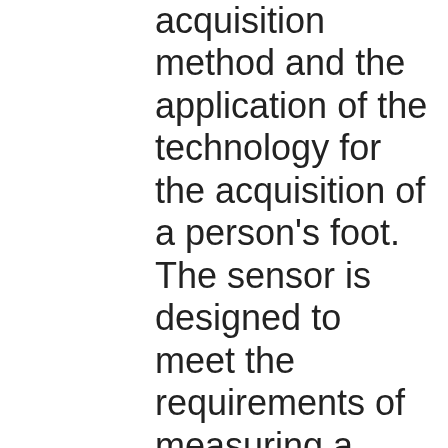acquisition method and the application of the technology for the acquisition of a person's foot. The sensor is designed to meet the requirements of measuring a variety of feet under various ambient optical conditions that can, in other circumstances, seriously affect the data measurements and reduce the reliability of the system. The most important distinction between this ranging method and other